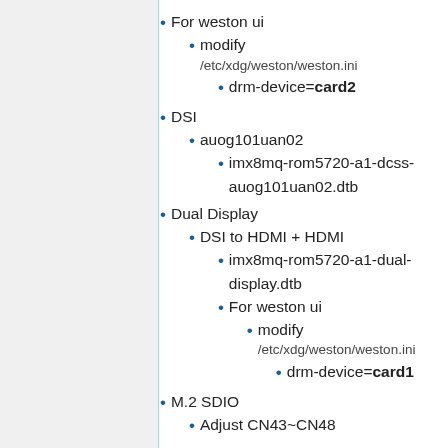For weston ui
modify /etc/xdg/weston/weston.ini
drm-device=card2
DSI
auog101uan02
imx8mq-rom5720-a1-dcss-auog101uan02.dtb
Dual Display
DSI to HDMI + HDMI
imx8mq-rom5720-a1-dual-display.dtb
For weston ui
modify /etc/xdg/weston/weston.ini
drm-device=card1
M.2 SDIO
Adjust CN43~CN48